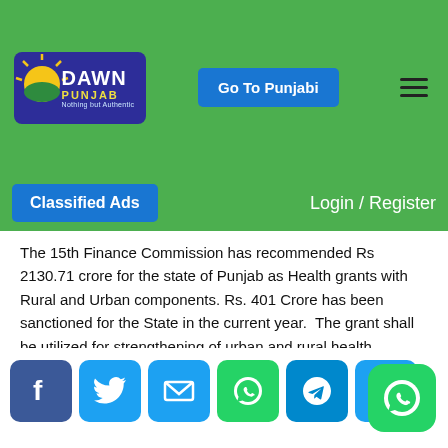Dawn Punjab — Nothing but Authentic | Go To Punjabi | Login / Register | Classified Ads
The 15th Finance Commission has recommended Rs 2130.71 crore for the state of Punjab as Health grants with Rural and Urban components. Rs. 401 Crore has been sanctioned for the State in the current year.  The grant shall be utilized for strengthening of urban and rural health infrastructure, including provision of 63 Diagnostic tests at PHC level and 14 at Sub centres level.
Dr KK Talwar informed the meeting that the state was fully geared to tackle the third wave, and the situation was currently stable.